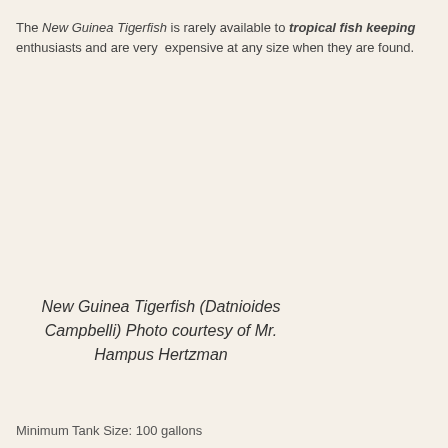The New Guinea Tigerfish is rarely available to tropical fish keeping enthusiasts and are very expensive at any size when they are found.
New Guinea Tigerfish (Datnioides Campbelli) Photo courtesy of Mr. Hampus Hertzman
Minimum Tank Size: 100 gallons